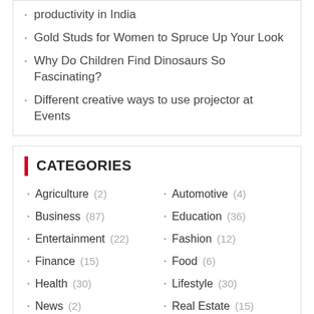productivity in India
Gold Studs for Women to Spruce Up Your Look
Why Do Children Find Dinosaurs So Fascinating?
Different creative ways to use projector at Events
CATEGORIES
Agriculture (2)
Automotive (4)
Business (87)
Education (36)
Entertainment (22)
Fashion (12)
Finance (15)
Food (6)
Health (30)
Lifestyle (30)
News (2)
Real Estate (15)
Technology (51)
Travel (20)